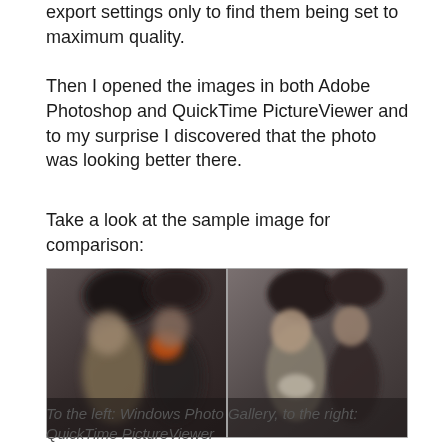export settings only to find them being set to maximum quality.
Then I opened the images in both Adobe Photoshop and QuickTime PictureViewer and to my surprise I discovered that the photo was looking better there.
Take a look at the sample image for comparison:
[Figure (photo): Side-by-side comparison of two blurry photos of dolls. Left half shows Windows Photo Gallery rendering, right half shows QuickTime PictureViewer rendering. The right side appears slightly sharper and lighter.]
To the left: Windows Photo Gallery, to the right: QuickTime PictureViewer